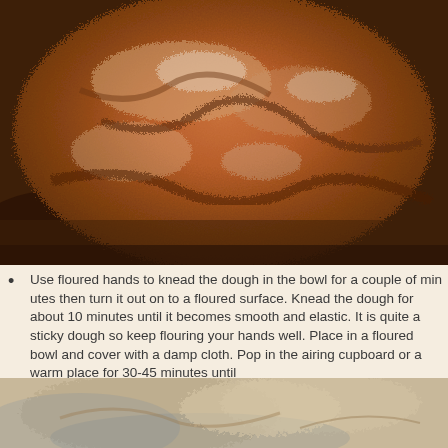[Figure (photo): Close-up photo of bread dough being kneaded in a bowl, showing rough textured dough with flour coating, warm orange-brown tones.]
Use floured hands to knead the dough in the bowl for a couple of minutes then turn it out on to a floured surface. Knead the dough for about 10 minutes until it becomes smooth and elastic. It is quite a sticky dough so keep flouring your hands well. Place in a floured bowl and cover with a damp cloth. Pop in the airing cupboard or a warm place for 30-45 minutes until doubled in size.
Using floured hands turn the dough out of the bowl and knock back as this will remove any air bubbles. Knead for another couple of minutes.
Break the dough up into 12 evenly sized pieces and form each one in
[Figure (photo): Close-up photo of dough on a floured surface, showing light-colored dough being worked, blue-grey and tan tones.]